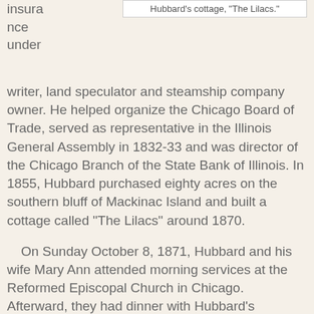[Figure (photo): Caption box with text: Hubbard's cottage, "The Lilacs."]
insura
nce
under
writer, land speculator and steamship company owner. He helped organize the Chicago Board of Trade, served as representative in the Illinois General Assembly in 1832-33 and was director of the Chicago Branch of the State Bank of Illinois. In 1855, Hubbard purchased eighty acres on the southern bluff of Mackinac Island and built a cottage called "The Lilacs" around 1870.

On Sunday October 8, 1871, Hubbard and his wife Mary Ann attended morning services at the Reformed Episcopal Church in Chicago. Afterward, they had dinner with Hubbard's cousins, Mr. and Mrs. Alfred Hebard of Iowa, at the new Palmer House hotel. They returned home after attending evening services at Grace Methodist church and prepared for bed. As